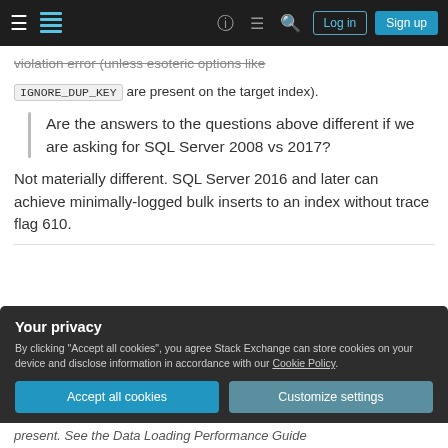Stack Exchange navigation bar with login and sign up buttons
violation error (unless esoteric options like IGNORE_DUP_KEY are present on the target index).
Are the answers to the questions above different if we are asking for SQL Server 2008 vs 2017?
Not materially different. SQL Server 2016 and later can achieve minimally-logged bulk inserts to an index without trace flag 610.
Your privacy
By clicking "Accept all cookies", you agree Stack Exchange can store cookies on your device and disclose information in accordance with our Cookie Policy.
present. See the Data Loading Performance Guide